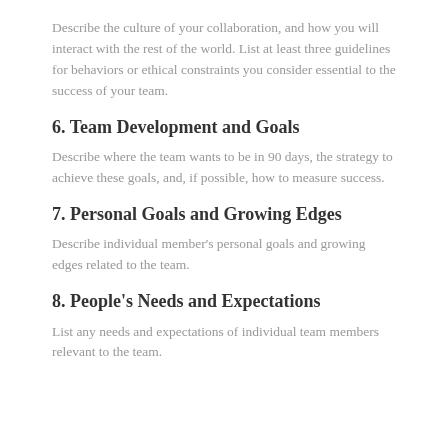Describe the culture of your collaboration, and how you will interact with the rest of the world. List at least three guidelines for behaviors or ethical constraints you consider essential to the success of your team.
6. Team Development and Goals
Describe where the team wants to be in 90 days, the strategy to achieve these goals, and, if possible, how to measure success.
7. Personal Goals and Growing Edges
Describe individual member's personal goals and growing edges related to the team.
8. People's Needs and Expectations
List any needs and expectations of individual team members relevant to the team.